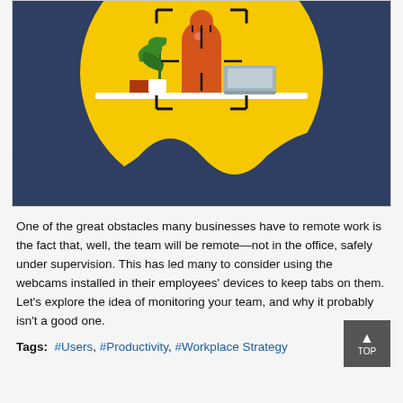[Figure (illustration): Illustration showing a person (orange figure) sitting at a desk with a laptop and plant, centered in a yellow circle against a dark navy background. A crosshair/scope overlay is shown on the image, suggesting workplace monitoring. The bottom third is dark navy.]
One of the great obstacles many businesses have to remote work is the fact that, well, the team will be remote—not in the office, safely under supervision. This has led many to consider using the webcams installed in their employees' devices to keep tabs on them. Let's explore the idea of monitoring your team, and why it probably isn't a good one.
Tags:  #Users, #Productivity, #Workplace Strategy